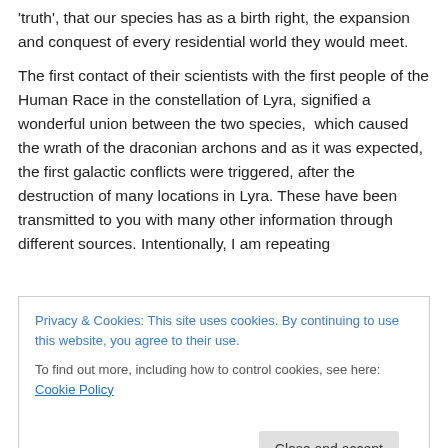'truth', that our species has as a birth right, the expansion and conquest of every residential world they would meet.
The first contact of their scientists with the first people of the Human Race in the constellation of Lyra, signified a wonderful union between the two species,  which caused the wrath of the draconian archons and as it was expected, the first galactic conflicts were triggered, after the destruction of many locations in Lyra. These have been transmitted to you with many other information through different sources. Intentionally, I am repeating
Privacy & Cookies: This site uses cookies. By continuing to use this website, you agree to their use. To find out more, including how to control cookies, see here: Cookie Policy
expanded to other locations of the Universe, setting as